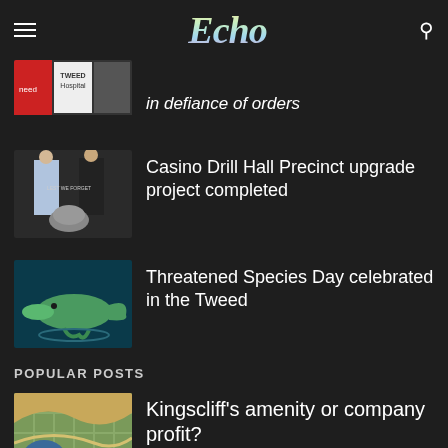Echo
in defiance of orders
Casino Drill Hall Precinct upgrade project completed
Threatened Species Day celebrated in the Tweed
POPULAR POSTS
Kingscliff's amenity or company profit?